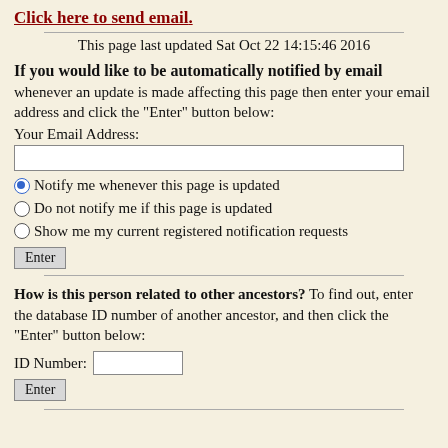Click here to send email.
This page last updated Sat Oct 22 14:15:46 2016
If you would like to be automatically notified by email whenever an update is made affecting this page then enter your email address and click the "Enter" button below:
Your Email Address:
Notify me whenever this page is updated
Do not notify me if this page is updated
Show me my current registered notification requests
Enter
How is this person related to other ancestors? To find out, enter the database ID number of another ancestor, and then click the "Enter" button below:
ID Number:
Enter